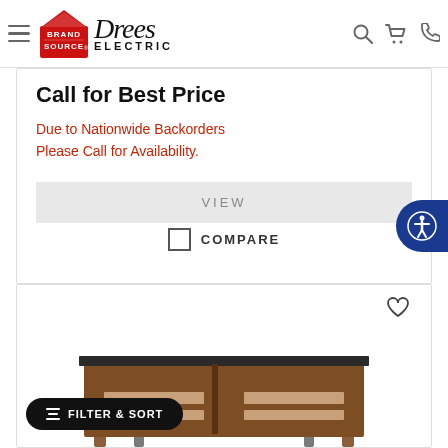Brand Source Drees Electric — navigation header with hamburger menu, logo, search, cart, and phone icons
Call for Best Price
Due to Nationwide Backorders
Please Call for Availability.
VIEW
COMPARE
[Figure (photo): TV stand / entertainment center furniture piece with dark wood finish and glass shelves, partially visible at bottom of page]
FILTER & SORT